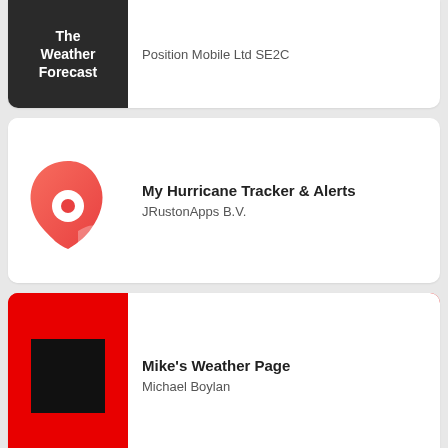[Figure (screenshot): App listing card partially visible at top: The Weather Forecast app icon (dark background with white bold text) and developer Position Mobile Ltd SE2C]
Position Mobile Ltd SE2C
[Figure (screenshot): App listing card: My Hurricane Tracker & Alerts with a red/pink hurricane icon logo]
My Hurricane Tracker & Alerts
JRustonApps B.V.
[Figure (screenshot): App listing card: Mike's Weather Page with a red background and black square icon]
Mike's Weather Page
Michael Boylan
[Figure (screenshot): App listing card partially visible at bottom: IQAir AirVisual | Air Quality with a blue background showing a cartoon face icon]
IQAir AirVisual | Air Quality
IQAir AG